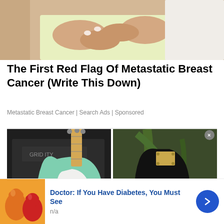[Figure (photo): Close-up photo of a woman in a light yellow outfit holding her abdomen/chest area with both hands]
The First Red Flag Of Metastatic Breast Cancer (Write This Down)
Metastatic Breast Cancer | Search Ads | Sponsored
[Figure (photo): Two electric guitars side by side: a mint-green Fender Telecaster on the left against an amplifier, and a black guitar with a sticker on the right against a plant background]
Doctor: If You Have Diabetes, You Must See
n/a